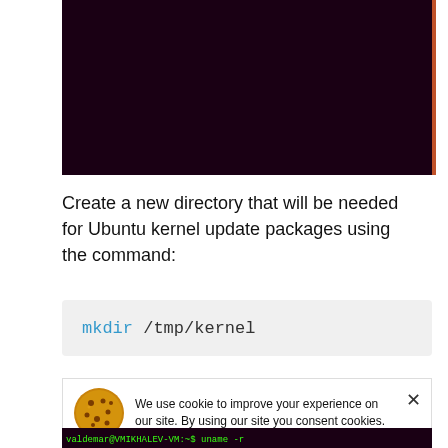[Figure (screenshot): Dark terminal/console window with deep purple-black background and a brownish-red right border]
Create a new directory that will be needed for Ubuntu kernel update packages using the command:
mkdir /tmp/kernel
We use cookie to improve your experience on our site. By using our site you consent cookies.
[Figure (screenshot): Bottom portion of a terminal window showing green text on dark background with command 'uname -r']